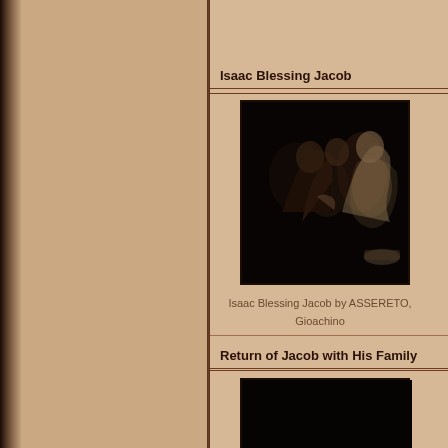Isaac Blessing Jacob
[Figure (photo): Painting of Isaac Blessing Jacob by ASSERETO, Gioachino. Dark scene with multiple figures, one elderly figure touching another's hand while a third looks on.]
Isaac Blessing Jacob by ASSERETO, Gioachino
Return of Jacob with His Family
[Figure (photo): Partially visible dark painting at the bottom of the page, cropped.]